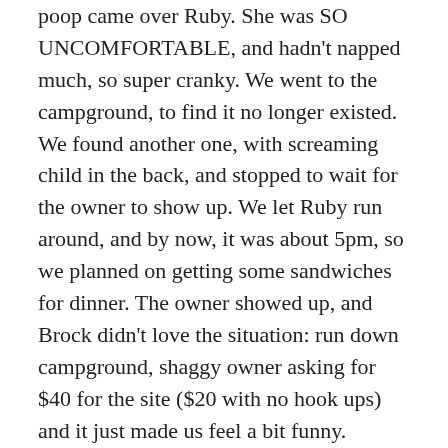poop came over Ruby. She was SO UNCOMFORTABLE, and hadn't napped much, so super cranky. We went to the campground, to find it no longer existed. We found another one, with screaming child in the back, and stopped to wait for the owner to show up. We let Ruby run around, and by now, it was about 5pm, so we planned on getting some sandwiches for dinner. The owner showed up, and Brock didn't love the situation: run down campground, shaggy owner asking for $40 for the site ($20 with no hook ups) and it just made us feel a bit funny. ALWAYS listen to your gut. We decided to feed Ruby, let her play for a little and hit the road. By the time we arrive campground in western MD, we were only 3hrs from home. So we pushed and